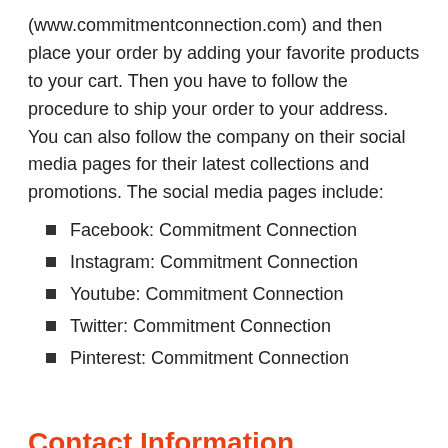(www.commitmentconnection.com) and then place your order by adding your favorite products to your cart. Then you have to follow the procedure to ship your order to your address. You can also follow the company on their social media pages for their latest collections and promotions. The social media pages include:
Facebook: Commitment Connection
Instagram: Commitment Connection
Youtube: Commitment Connection
Twitter: Commitment Connection
Pinterest: Commitment Connection
Contact Information